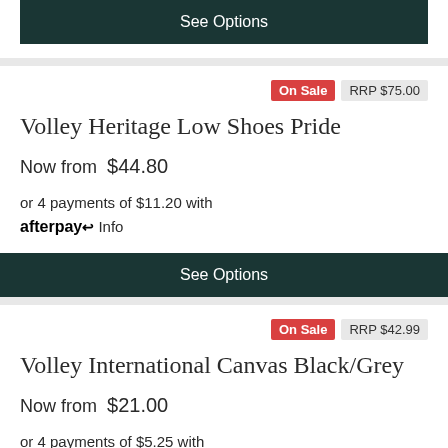See Options
On Sale  RRP $75.00
Volley Heritage Low Shoes Pride
Now from  $44.80
or 4 payments of $11.20 with afterpay Info
See Options
On Sale  RRP $42.99
Volley International Canvas Black/Grey
Now from  $21.00
or 4 payments of $5.25 with